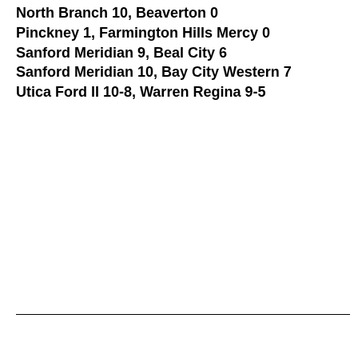North Branch 10, Beaverton 0
Pinckney 1, Farmington Hills Mercy 0
Sanford Meridian 9, Beal City 6
Sanford Meridian 10, Bay City Western 7
Utica Ford II 10-8, Warren Regina 9-5